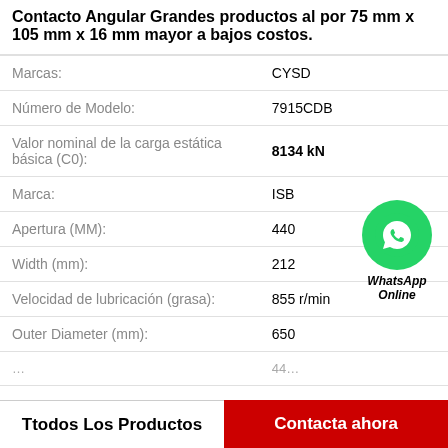Contacto Angular Grandes productos al por 75 mm x 105 mm x 16 mm mayor a bajos costos.
| Atributo | Valor |
| --- | --- |
| Marcas: | CYSD |
| Número de Modelo: | 7915CDB |
| Valor nominal de la carga estática básica (C0): | 8134 kN |
| Marca: | ISB |
| Apertura (MM): | 440 |
| Width (mm): | 212 |
| Velocidad de lubricación (grasa): | 855 r/min |
| Outer Diameter (mm): | 650 |
|  | 440 |
[Figure (logo): WhatsApp Online green phone icon with label 'WhatsApp Online']
Ttodos Los Productos
Contacta ahora